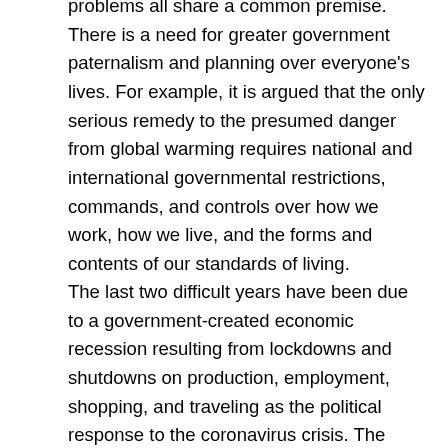problems all share a common premise. There is a need for greater government paternalism and planning over everyone's lives. For example, it is argued that the only serious remedy to the presumed danger from global warming requires national and international governmental restrictions, commands, and controls over how we work, how we live, and the forms and contents of our standards of living.
The last two difficult years have been due to a government-created economic recession resulting from lockdowns and shutdowns on production, employment, shopping, and traveling as the political response to the coronavirus crisis. The sluggish recovery, especially in labor markets and supply-chains, have also been due to various government interventions. But